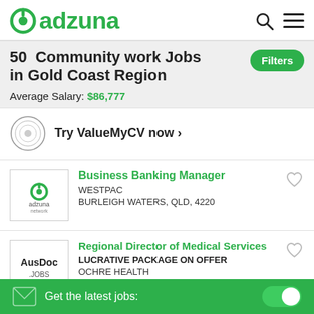adzuna
50 Community work Jobs in Gold Coast Region
Average Salary: $86,777
Try ValueMyCV now ›
Business Banking Manager
WESTPAC
BURLEIGH WATERS, QLD, 4220
Regional Director of Medical Services
LUCRATIVE PACKAGE ON OFFER
OCHRE HEALTH
BOURKE, NORTH WESTERN REGION
Get the latest jobs: